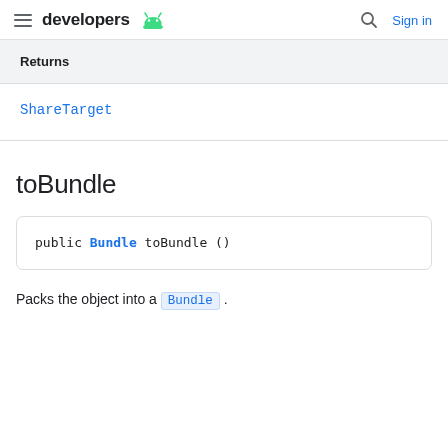developers | Sign in
| Returns |
| --- |
| ShareTarget |
toBundle
public Bundle toBundle ()
Packs the object into a Bundle.